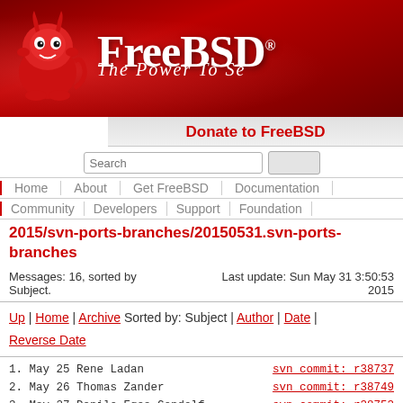[Figure (logo): FreeBSD logo banner with daemon mascot and tagline 'The Power To Se...']
Donate to FreeBSD
Search
Home | About | Get FreeBSD | Documentation
Community | Developers | Support | Foundation
2015/svn-ports-branches/20150531.svn-ports-branches
Messages: 16, sorted by Subject.
Last update: Sun May 31 3:50:53 2015
Up | Home | Archive Sorted by: Subject | Author | Date | Reverse Date
1. May 25 Rene Ladan    svn commit: r38737...
2. May 26 Thomas Zander    svn commit: r38749...
3. May 27 Danilo Egea Gondolf    svn commit: r38753...
4. May 27 Xin LI    svn commit: r38767...
5. May 27 Xin LI    svn commit: r38767...
6. May 27 Xin LI    svn commit: r38767...
7. May 27 Xin LI    svn commit: r38767...